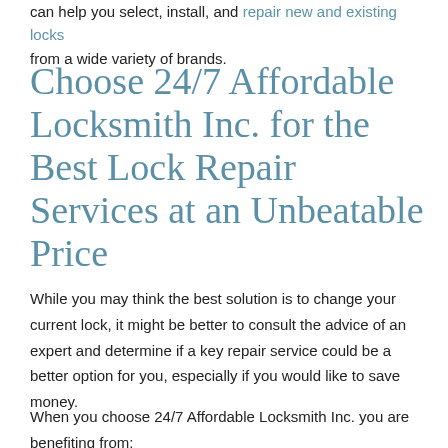can help you select, install, and repair new and existing locks from a wide variety of brands.
Choose 24/7 Affordable Locksmith Inc. for the Best Lock Repair Services at an Unbeatable Price
While you may think the best solution is to change your current lock, it might be better to consult the advice of an expert and determine if a key repair service could be a better option for you, especially if you would like to save money.
When you choose 24/7 Affordable Locksmith Inc. you are benefiting from: